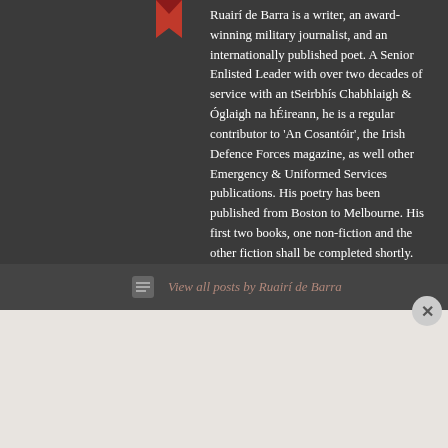Ruairí de Barra is a writer, an award-winning military journalist, and an internationally published poet. A Senior Enlisted Leader with over two decades of service with an tSeirbhís Chabhlaigh & Óglaigh na hÉireann, he is a regular contributor to 'An Cosantóir', the Irish Defence Forces magazine, as well other Emergency & Uniformed Services publications. His poetry has been published from Boston to Melbourne. His first two books, one non-fiction and the other fiction shall be completed shortly.
View all posts by Ruairí de Barra
[Figure (screenshot): DuckDuckGo advertisement banner with orange background. Text: 'Search, browse, and email with more privacy. All in One Free App'. Shows a smartphone with DuckDuckGo app.]